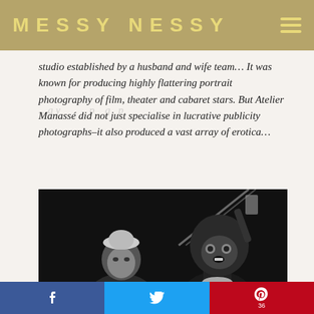MESSY NESSY
studio established by a husband and wife team… It was known for producing highly flattering portrait photography of film, theater and cabaret stars. But Atelier Manassé did not just specialise in lucrative publicity photographs–it also produced a vast array of erotica…
[Figure (photo): Black and white photograph showing a woman in a light-colored hat on the left, and a figure in a dark furry costume on the right, against a dark background.]